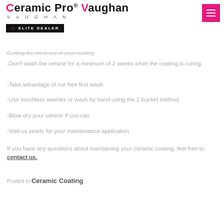Ceramic Pro® Vaughan // ELITE DEALER
Getting the most out of your coating
-Don't wash the vehicle for a minimum of 2 weeks while the coating is curing.
-Take advantage of our free first wash
-Use touchless washes or wash by hand using the 2 bucket method
-Blow dry your vehicle if you can
-Visit us yearly for your maintenance application
If you have any questions about maintaining your ceramic coating, feel free to contact us.
Posted in Ceramic Coating